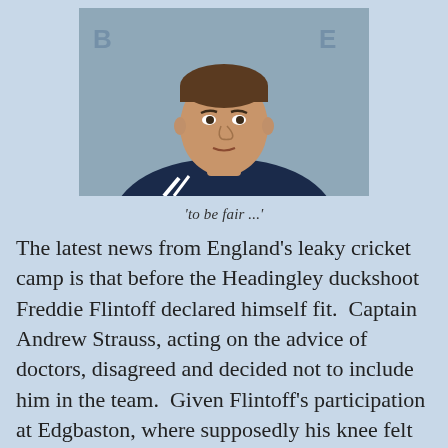[Figure (photo): A man in a dark sports jacket with white stripes on the shoulders, photographed from the chest up, appearing to speak at a press conference.]
'to be fair ...'
The latest news from England's leaky cricket camp is that before the Headingley duckshoot Freddie Flintoff declared himself fit.  Captain Andrew Strauss, acting on the advice of doctors, disagreed and decided not to include him in the team.  Given Flintoff's participation at Edgbaston, where supposedly his knee felt no worse, that doesn't seem very fair of Strauss. Strauss is guilty of the ...